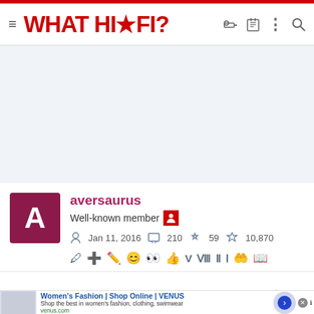WHAT HI★FI?
[Figure (other): Gray advertisement placeholder banner area]
aversaurus
Well-known member
Jan 11, 2016  210  59  10,870
Feb 3, 2022  #43
[Figure (other): Advertisement: Women's Fashion | Shop Online | VENUS. Shop the best in women's fashion, clothing, swimwear. venus.com]